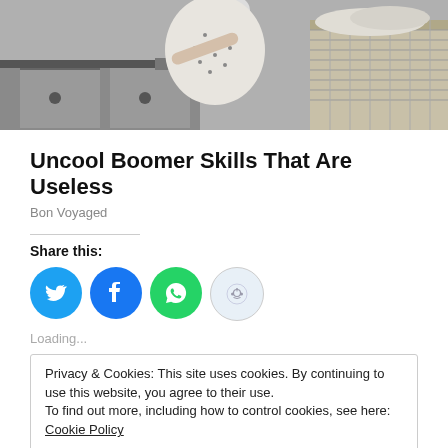[Figure (photo): Black and white vintage photo of a woman in a floral dress standing in a kitchen next to a laundry basket]
Uncool Boomer Skills That Are Useless
Bon Voyaged
Share this:
[Figure (infographic): Social sharing buttons: Twitter (blue), Facebook (blue), WhatsApp (green), Reddit (light blue)]
Loading...
Privacy & Cookies: This site uses cookies. By continuing to use this website, you agree to their use.
To find out more, including how to control cookies, see here: Cookie Policy
Close and accept
Bollywood Movies
July 26, 2012